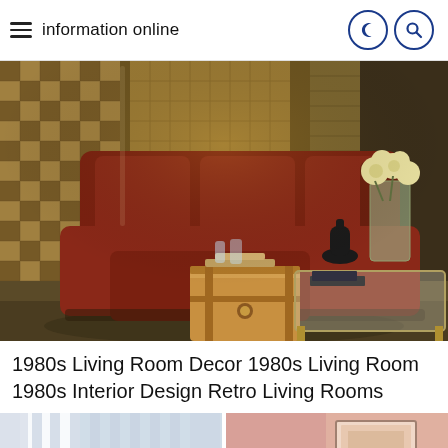information online
[Figure (photo): 1980s living room with dark red/maroon sectional sofa, plaid/checkered wallpaper panels, a vintage trunk as a side table, a glass and brass coffee table, flower arrangement, and a dark vase. Warm, dim lighting with retro decor.]
1980s Living Room Decor 1980s Living Room 1980s Interior Design Retro Living Rooms
[Figure (photo): Partial view of a bright room with white sheer curtains on the left side.]
[Figure (photo): Partial view of a room with warm salmon/pink tones and a framed artwork on the right side.]